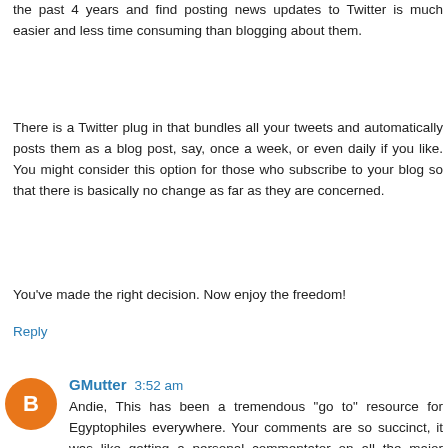the past 4 years and find posting news updates to Twitter is much easier and less time consuming than blogging about them.
There is a Twitter plug in that bundles all your tweets and automatically posts them as a blog post, say, once a week, or even daily if you like. You might consider this option for those who subscribe to your blog so that there is basically no change as far as they are concerned.
You've made the right decision. Now enjoy the freedom!
Reply
GMutter  3:52 am
Andie, This has been a tremendous "go to" resource for Egyptophiles everywhere. Your comments are so succinct, it was like getting a personal commentator on all the major events. And to think you did it at such personal sacrifice for us! Much appreciated, and very best of wishes.
George
Reply